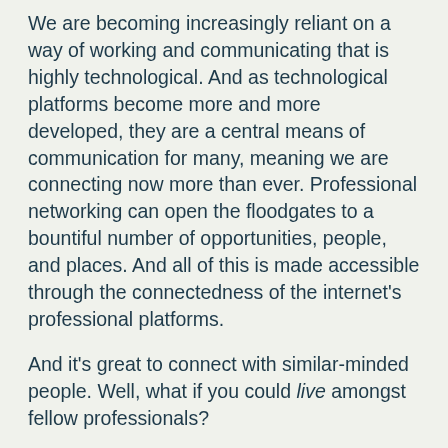We are becoming increasingly reliant on a way of working and communicating that is highly technological. And as technological platforms become more and more developed, they are a central means of communication for many, meaning we are connecting now more than ever. Professional networking can open the floodgates to a bountiful number of opportunities, people, and places. And all of this is made accessible through the connectedness of the internet's professional platforms.
And it's great to connect with similar-minded people. Well, what if you could live amongst fellow professionals?
All inclusive living not only allows you to connect and network with other professionals across the board – it gives you the opportunity to live with and befriend similar people. Imagine if your home was both a social playground filled with like-minded individuals and a private space that was solely yours?
Co-habitation is becoming increasingly popular among millennial professionals and young entrepreneurs. When you're thrown into an exciting pick and mix of housemates from different professional backgrounds you